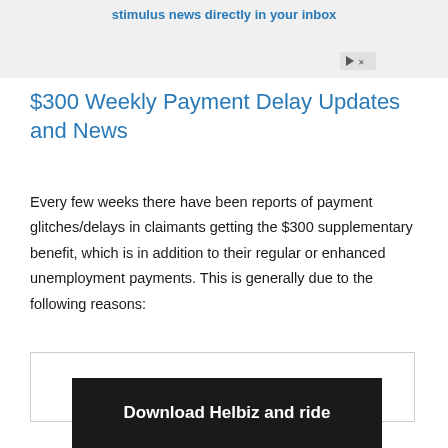stimulus news directly in your inbox
$300 Weekly Payment Delay Updates and News
Every few weeks there have been reports of payment glitches/delays in claimants getting the $300 supplementary benefit, which is in addition to their regular or enhanced unemployment payments. This is generally due to the following reasons:
[Figure (other): Advertisement box placeholder at bottom of page]
[Figure (other): Download Helbiz and ride - advertisement banner at very bottom]